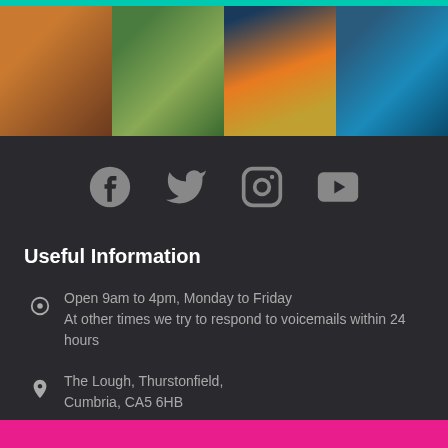[Figure (photo): Four horizontal photos showing accommodation/venue images: romantic bedroom with rose petals, outdoor lakeside dining, sunset lake view with lanterns, hot tub]
[Figure (infographic): Social media icons: Facebook, Twitter, Instagram, YouTube in grey on dark background]
Useful Information
Open 9am to 4pm, Monday to Friday
At other times we try to respond to voicemails within 24 hours
The Lough, Thurstonfield, Cumbria, CA5 6HB
Contact us at info@thetranquilotter.co.uk